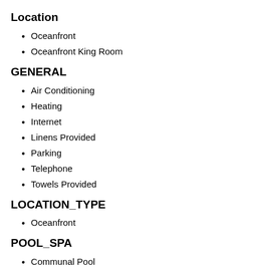Location
Oceanfront
Oceanfront King Room
GENERAL
Air Conditioning
Heating
Internet
Linens Provided
Parking
Telephone
Towels Provided
LOCATION_TYPE
Oceanfront
POOL_SPA
Communal Pool
Heated Pool
Hot Tub